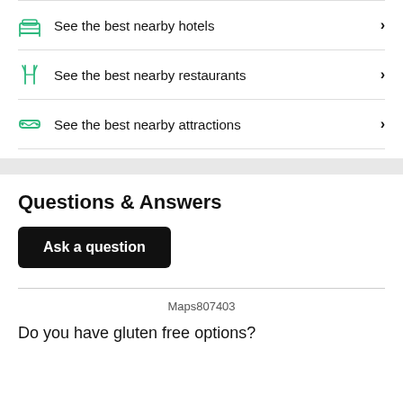See the best nearby hotels
See the best nearby restaurants
See the best nearby attractions
Questions & Answers
Ask a question
Maps807403
Do you have gluten free options?